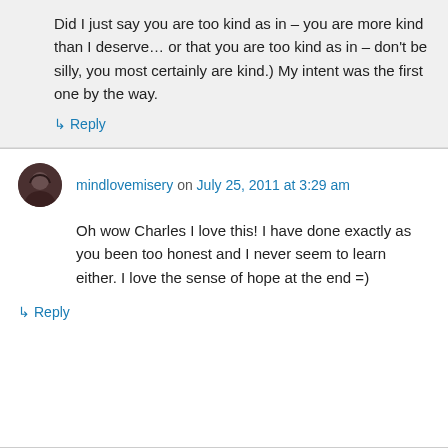Did I just say you are too kind as in – you are more kind than I deserve… or that you are too kind as in – don't be silly, you most certainly are kind.) My intent was the first one by the way.
↳ Reply
mindlovemisery on July 25, 2011 at 3:29 am
Oh wow Charles I love this! I have done exactly as you been too honest and I never seem to learn either. I love the sense of hope at the end =)
↳ Reply